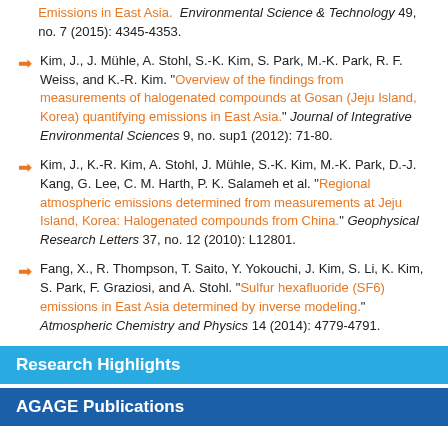Emissions in East Asia. Environmental Science & Technology 49, no. 7 (2015): 4345-4353.
Kim, J., J. Mühle, A. Stohl, S.-K. Kim, S. Park, M.-K. Park, R. F. Weiss, and K.-R. Kim. "Overview of the findings from measurements of halogenated compounds at Gosan (Jeju Island, Korea) quantifying emissions in East Asia." Journal of Integrative Environmental Sciences 9, no. sup1 (2012): 71-80.
Kim, J., K.-R. Kim, A. Stohl, J. Mühle, S.-K. Kim, M.-K. Park, D.-J. Kang, G. Lee, C. M. Harth, P. K. Salameh et al. "Regional atmospheric emissions determined from measurements at Jeju Island, Korea: Halogenated compounds from China." Geophysical Research Letters 37, no. 12 (2010): L12801.
Fang, X., R. Thompson, T. Saito, Y. Yokouchi, J. Kim, S. Li, K. Kim, S. Park, F. Graziosi, and A. Stohl. "Sulfur hexafluoride (SF6) emissions in East Asia determined by inverse modeling." Atmospheric Chemistry and Physics 14 (2014): 4779-4791.
Research Highlights
AGAGE Publications